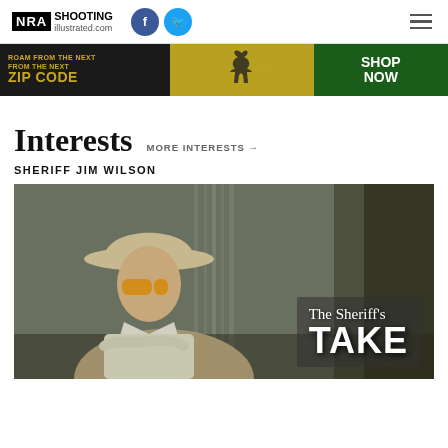NRA Shooting Illustrated .com
[Figure (infographic): Remington advertisement banner: ROAM FROM THE NEXT ZIP CODE, with deer silhouette, Remington green box ammo, SHOP NOW button]
Interests
MORE INTERESTS →
SHERIFF JIM WILSON
[Figure (photo): Man wearing tan cowboy hat and yellow-tinted glasses in outdoor setting with trees, overlaid with text 'The Sheriff's TAKE']